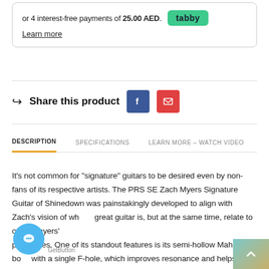or 4 interest-free payments of 25.00 AED. Learn more
Share this product
DESCRIPTION   SPECIFICATIONS   LEARN MORE – WATCH VIDEO
It’s not common for “signature” guitars to be desired even by non-fans of its respective artists. The PRS SE Zach Myers Signature Guitar of Shinedown was painstakingly developed to align with Zach’s vision of what a great guitar is, but at the same time, relate to other players’ preferences. One of its standout features is its semi-hollow Mahogany body with a single F-hole, which improves resonance and helps produce a smooth, warm tone with “natural reverb”; perfect for the big, ringing